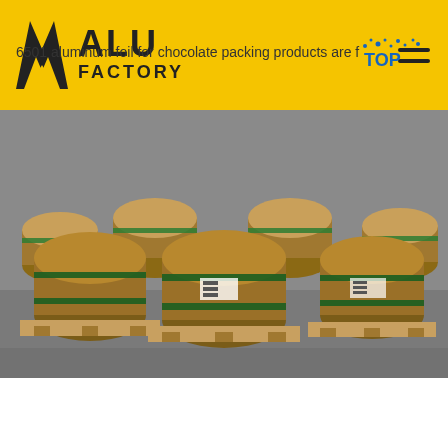ALU FACTORY
[Figure (photo): Large aluminum foil rolls wrapped in brown kraft paper and secured with green strapping bands, stacked on wooden pallets in a warehouse]
Food Grade Aluminium Foil for Chocolate...
6501 aluminum foil for chocolate packing products are f TOP
Get Price